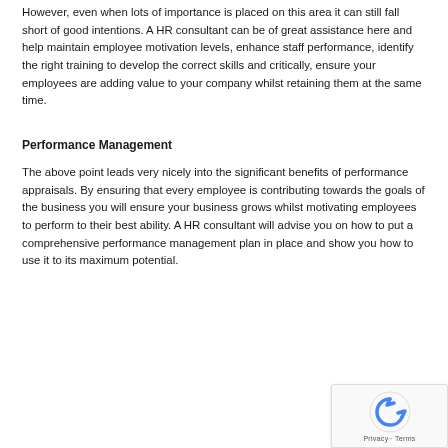However, even when lots of importance is placed on this area it can still fall short of good intentions. A HR consultant can be of great assistance here and help maintain employee motivation levels, enhance staff performance, identify the right training to develop the correct skills and critically, ensure your employees are adding value to your company whilst retaining them at the same time.
Performance Management
The above point leads very nicely into the significant benefits of performance appraisals. By ensuring that every employee is contributing towards the goals of the business you will ensure your business grows whilst motivating employees to perform to their best ability. A HR consultant will advise you on how to put a comprehensive performance management plan in place and show you how to use it to its maximum potential.